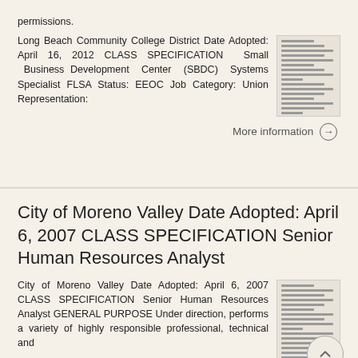permissions.
Long Beach Community College District Date Adopted: April 16, 2012 CLASS SPECIFICATION Small Business Development Center (SBDC) Systems Specialist FLSA Status: EEOC Job Category: Union Representation:
More information →
City of Moreno Valley Date Adopted: April 6, 2007 CLASS SPECIFICATION Senior Human Resources Analyst
City of Moreno Valley Date Adopted: April 6, 2007 CLASS SPECIFICATION Senior Human Resources Analyst GENERAL PURPOSE Under direction, performs a variety of highly responsible professional, technical and
More information →